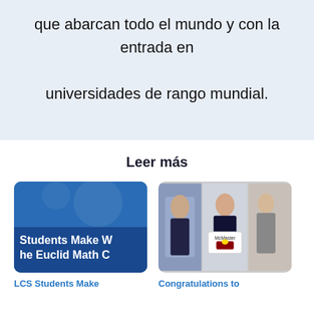que abarcan todo el mundo y con la entrada en universidades de rango mundial.
Leer más
[Figure (photo): Blue card image with text overlay reading 'Students Make W he Euclid Math C' on a blue background]
LCS Students Make
[Figure (photo): Three photo strips showing students holding a McMaster university sign]
Congratulations to